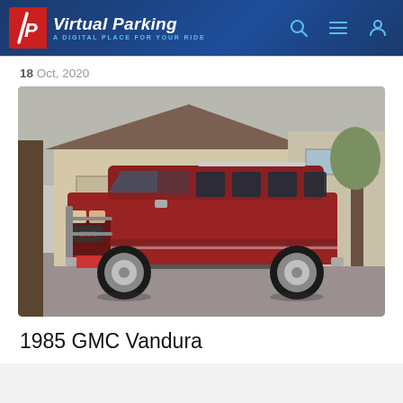Virtual Parking — A Digital Place For Your Ride
18 Oct, 2020
[Figure (photo): Red 1985 GMC Vandura conversion van parked in a driveway in front of a suburban garage. The van has a raised roof, chrome wheels, side stripes, and a brush guard on the front.]
1985 GMC Vandura